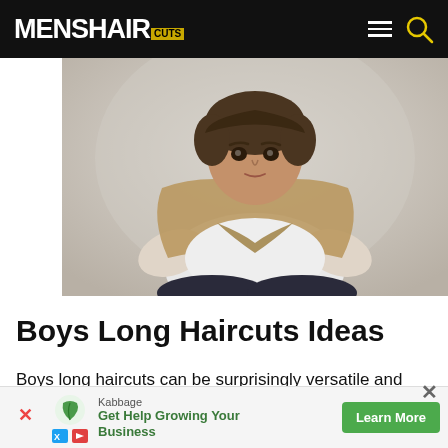MENSHAIRCUTS
[Figure (photo): Young boy with medium-length hair wearing a white t-shirt with a tan/khaki jacket tied around his shoulders, sitting cross-legged against a light background]
Boys Long Haircuts Ideas
Boys long haircuts can be surprisingly versatile and creative. They range depending on the hair texture, difficulty of styling and other factors.
[Figure (other): Advertisement banner: Kabbage - Get Help Growing Your Business - Learn More button]